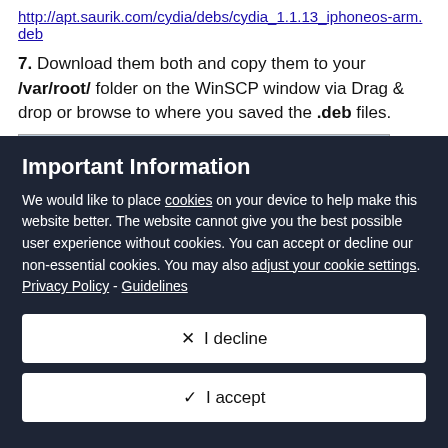http://apt.saurik.com/cydia/debs/cydia_1.1.13_iphoneos-arm.deb
7. Download them both and copy them to your /var/root/ folder on the WinSCP window via Drag & drop or browse to where you saved the .deb files.
[Figure (screenshot): WinSCP file browser showing /private/var/root directory with columns Name, Ext, Size, Changed. One row visible with folder icon and date 21/10/2014 21]
Important Information
We would like to place cookies on your device to help make this website better. The website cannot give you the best possible user experience without cookies. You can accept or decline our non-essential cookies. You may also adjust your cookie settings. Privacy Policy - Guidelines
✕  I decline
✓  I accept